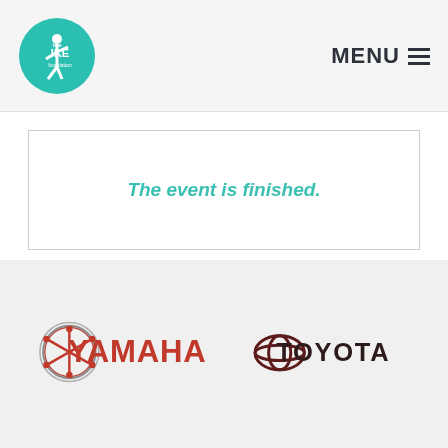The IKE Foundation | MENU
The event is finished.
[Figure (logo): Yamaha logo with red text and circular emblem]
[Figure (logo): Toyota logo with circular emblem and dark text]